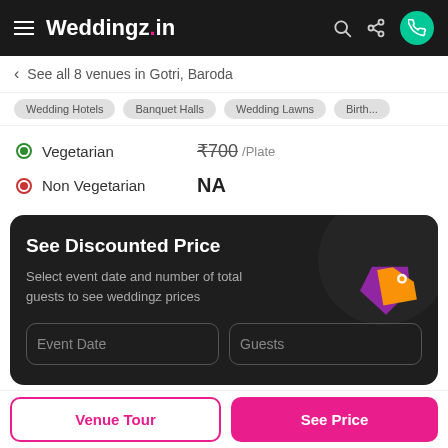Weddingz.in
< See all 8 venues in Gotri, Baroda
Wedding Hotels   Banquet Halls   Wedding Lawns   Birth...
Vegetarian  ₹700 /Plate
Non Vegetarian  NA
See Discounted Price
Select event date and number of total guests to see weddingz prices
Event Date
Guests
Venue Tour
See Price